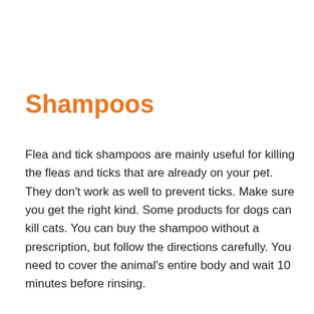Shampoos
Flea and tick shampoos are mainly useful for killing the fleas and ticks that are already on your pet. They don't work as well to prevent ticks. Make sure you get the right kind. Some products for dogs can kill cats. You can buy the shampoo without a prescription, but follow the directions carefully. You need to cover the animal's entire body and wait 10 minutes before rinsing.